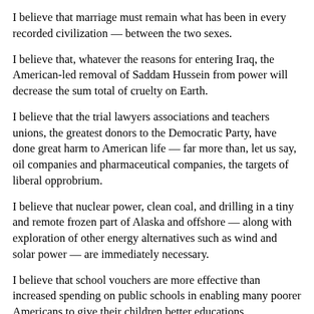I believe that marriage must remain what has been in every recorded civilization — between the two sexes.
I believe that, whatever the reasons for entering Iraq, the American-led removal of Saddam Hussein from power will decrease the sum total of cruelty on Earth.
I believe that the trial lawyers associations and teachers unions, the greatest donors to the Democratic Party, have done great harm to American life — far more than, let us say, oil companies and pharmaceutical companies, the targets of liberal opprobrium.
I believe that nuclear power, clean coal, and drilling in a tiny and remote frozen part of Alaska and offshore — along with exploration of other energy alternatives such as wind and solar power — are immediately necessary.
I believe that school vouchers are more effective than increased spending on public schools in enabling many poorer Americans to give their children better educations.
I believe that while there are racists in America, America is no longer a racist society, and that blaming disproportionate rates of black violence and out-of-wedlock births on white racism is a lie and the greatest single impediment to African American progress